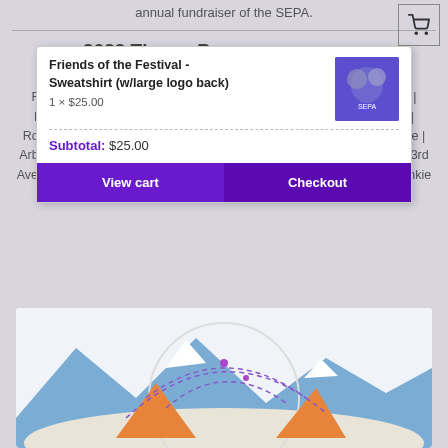annual fundraiser of the SEPA.
[Figure (screenshot): Shopping cart icon in a bordered box in the top-right corner]
2022 Theme Pins sale at the following retailers
Rosauers 14th St | Rosauers Browne's Addition | Rosauers 29th Ave | Rosauers The Y | Rosauers 10618 E Sprague | Rosauers Nine Mile | Rosauers 5 Mile | Super 1 | Huckleberry's | Arby's, 15327 E Indiana Ave | Arby's, 10407 E Sprague Ave | Arby's, 6316 N Division | Arby's, 328 W 3rd Ave | Longhorn BBQ, Airway Heights | Flying J, 6606 E Broadway | Frankie Doodles, 30 E 3rd | Downtown Holiday Inn Express, 801 N Division
[Figure (screenshot): Shopping cart popup overlay showing Friends of the Festival Sweatshirt product, 1x $25.00, Subtotal $25.00, with View cart and Checkout buttons]
[Figure (illustration): Circular illustration of mountains and tent scene with purple dashed lines]